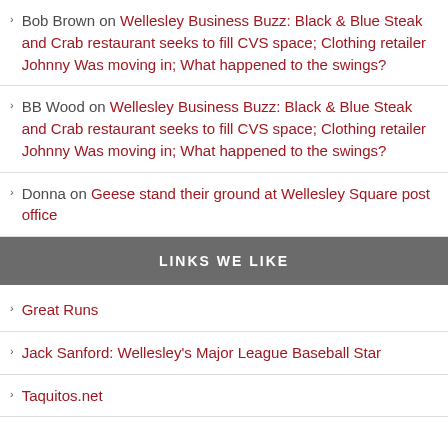Bob Brown on Wellesley Business Buzz: Black & Blue Steak and Crab restaurant seeks to fill CVS space; Clothing retailer Johnny Was moving in; What happened to the swings?
BB Wood on Wellesley Business Buzz: Black & Blue Steak and Crab restaurant seeks to fill CVS space; Clothing retailer Johnny Was moving in; What happened to the swings?
Donna on Geese stand their ground at Wellesley Square post office
LINKS WE LIKE
Great Runs
Jack Sanford: Wellesley's Major League Baseball Star
Taquitos.net